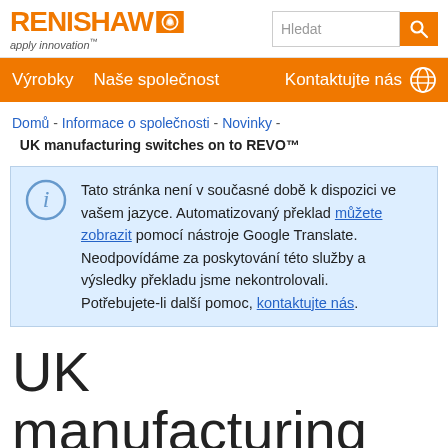RENISHAW apply innovation™ | Hledat | Výrobky | Naše společnost | Kontaktujte nás
Domů - Informace o společnosti - Novinky - UK manufacturing switches on to REVO™
Tato stránka není v současné době k dispozici ve vašem jazyce. Automatizovaný překlad můžete zobrazit pomocí nástroje Google Translate. Neodpovídáme za poskytování této služby a výsledky překladu jsme nekontrolovali. Potřebujete-li další pomoc, kontaktujte nás.
UK manufacturing switches on to